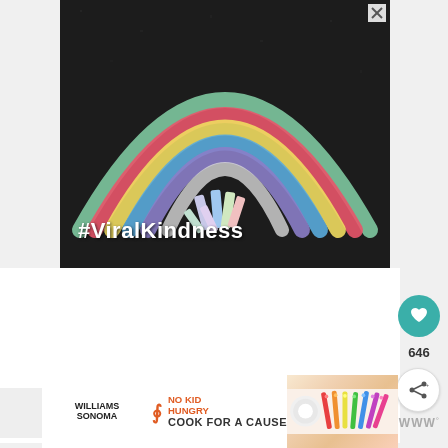[Figure (photo): Advertisement showing a colorful chalk rainbow drawn on dark asphalt pavement with chalk pieces visible, text '#ViralKindness' written in white bold text at the bottom. Close button (X) in top right corner.]
646
[Figure (infographic): Williams Sonoma 'No Kid Hungry' advertisement banner at bottom reading 'COOK FOR A CAUSE' with colorful kitchen utensils/spatulas on the right side.]